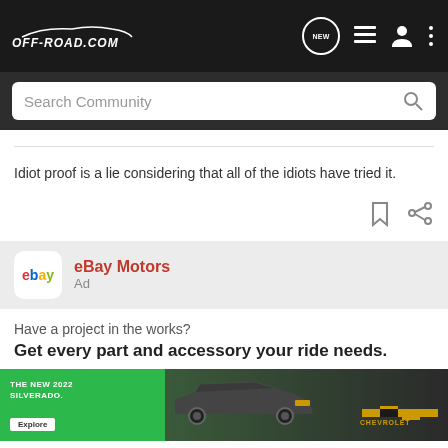OFF-ROAD.COM
Search Community
Idiot proof is a lie considering that all of the idiots have tried it.
[Figure (other): eBay Motors advertisement with logo, title and ad label]
Have a project in the works?
Get every part and accessory your ride needs.
[Figure (photo): eBay Motors ad image showing The New 2022 Silverado with Chevrolet logo and Explore button on green and dark background]